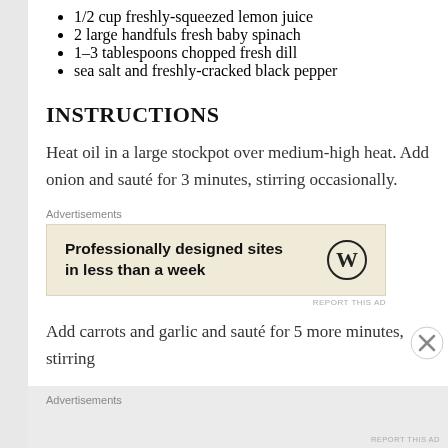1/2 cup freshly-squeezed lemon juice
2 large handfuls fresh baby spinach
1–3 tablespoons chopped fresh dill
sea salt and freshly-cracked black pepper
INSTRUCTIONS
Heat oil in a large stockpot over medium-high heat.  Add onion and sauté for 3 minutes, stirring occasionally.
[Figure (other): Advertisement banner with text 'Professionally designed sites in less than a week' and WordPress logo on a beige background]
Add carrots and garlic and sauté for 5 more minutes, stirring
Advertisements